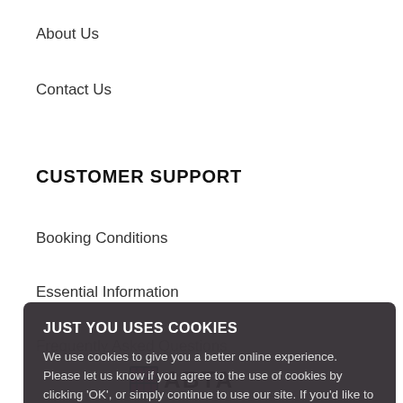About Us
Contact Us
CUSTOMER SUPPORT
Booking Conditions
Essential Information
Frequently Asked Questions
Privacy
[Figure (screenshot): Cookie consent modal overlay on a travel website. Title: 'JUST YOU USES COOKIES'. Body text: 'We use cookies to give you a better online experience. Please let us know if you agree to the use of cookies by clicking OK, or simply continue to use our site. If you'd like to see more details press See more.' Contains a 'See More' button box with Email address field and Sign Up button ghost, and a large pink OK button at bottom.]
[Figure (logo): ABTA logo at bottom of page]